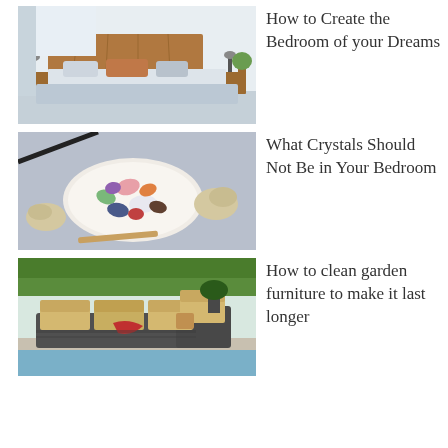[Figure (photo): Modern bedroom with wooden headboard, grey bedding, and neutral tones]
How to Create the Bedroom of your Dreams
[Figure (photo): Various colorful crystals and gemstones arranged on a white plate with natural elements around them]
What Crystals Should Not Be in Your Bedroom
[Figure (photo): Outdoor garden/patio wicker sectional sofa set with beige cushions near a pool and green lawn]
How to clean garden furniture to make it last longer